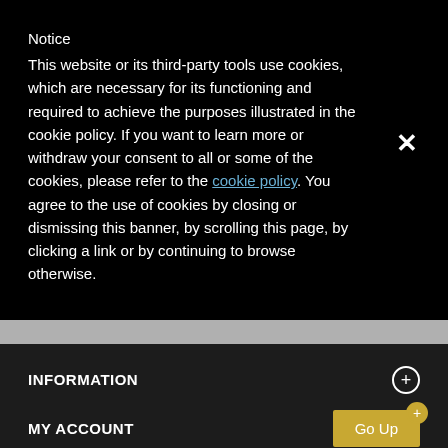Notice
This website or its third-party tools use cookies, which are necessary for its functioning and required to achieve the purposes illustrated in the cookie policy. If you want to learn more or withdraw your consent to all or some of the cookies, please refer to the cookie policy. You agree to the use of cookies by closing or dismissing this banner, by scrolling this page, by clicking a link or by continuing to browse otherwise.
INFORMATION
MY ACCOUNT